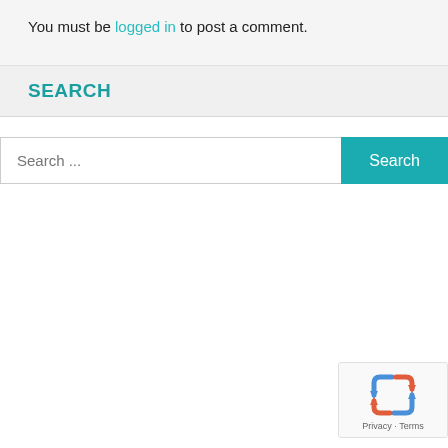You must be logged in to post a comment.
SEARCH
Search ...
[Figure (logo): reCAPTCHA widget with recycling-arrow logo and Privacy · Terms links]